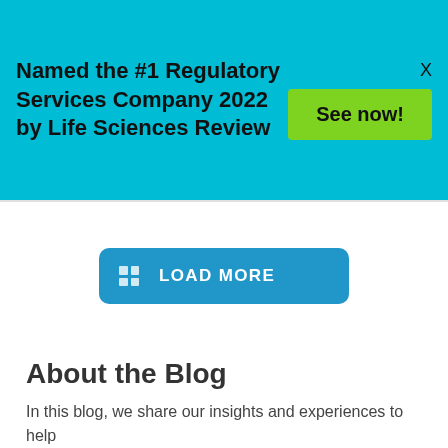Named the #1 Regulatory Services Company 2022 by Life Sciences Review
See now!
X
LOAD MORE
About the Blog
In this blog, we share our insights and experiences to help